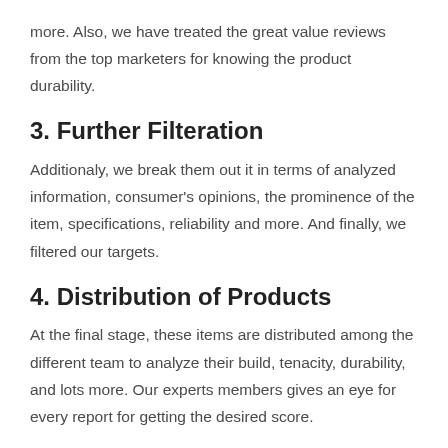more. Also, we have treated the great value reviews from the top marketers for knowing the product durability.
3. Further Filteration
Additionaly, we break them out it in terms of analyzed information, consumer's opinions, the prominence of the item, specifications, reliability and more. And finally, we filtered our targets.
4. Distribution of Products
At the final stage, these items are distributed among the different team to analyze their build, tenacity, durability, and lots more. Our experts members gives an eye for every report for getting the desired score.